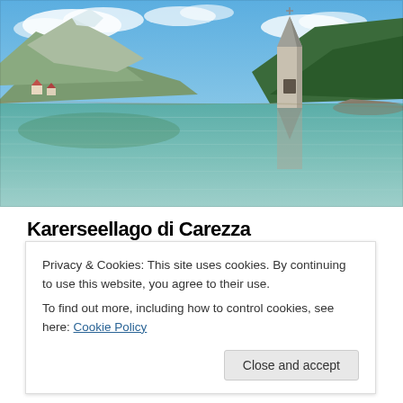[Figure (photo): A photograph of a submerged church bell tower standing in a calm alpine lake (Lake Resia / Lago di Resia), with reflections on the turquoise water, green mountain slopes, and blue sky with clouds in the background.]
Karerseell ago di Carezza
Privacy & Cookies: This site uses cookies. By continuing to use this website, you agree to their use.
To find out more, including how to control cookies, see here: Cookie Policy
summer time, since in winter the water is frozen. The lake